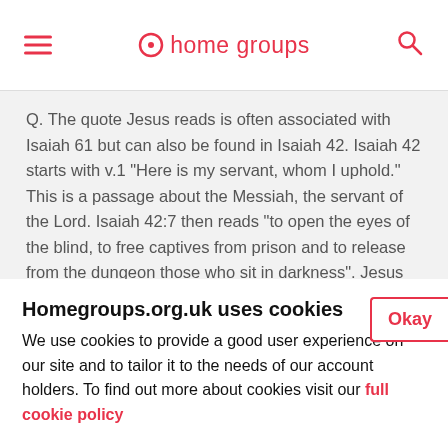home groups
Q. The quote Jesus reads is often associated with Isaiah 61 but can also be found in Isaiah 42. Isaiah 42 starts with v.1 "Here is my servant, whom I uphold." This is a passage about the Messiah, the servant of the Lord. Isaiah 42:7 then reads "to open the eyes of the blind, to free captives from prison and to release from the dungeon those who sit in darkness". Jesus stops reading at this point BUT the next line reads v.8 "I am the Lord: that is my name!" Jesus stops one verse off this
Homegroups.org.uk uses cookies
We use cookies to provide a good user experience on our site and to tailor it to the needs of our account holders. To find out more about cookies visit our full cookie policy